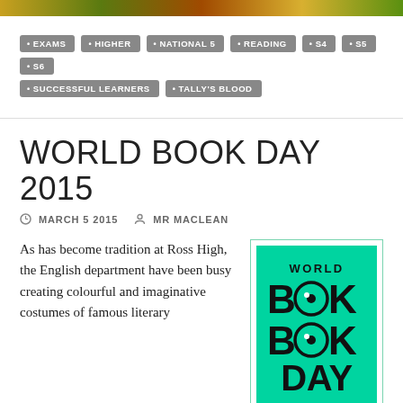[Figure (illustration): Top banner with colorful gradient pattern in orange, green, and brown tones]
EXAMS
HIGHER
NATIONAL 5
READING
S4
S5
S6
SUCCESSFUL LEARNERS
TALLY'S BLOOD
WORLD BOOK DAY 2015
MARCH 5 2015   MR MACLEAN
As has become tradition at Ross High, the English department have been busy creating colourful and imaginative costumes of famous literary
[Figure (logo): World Book Day logo: teal/green background with WORLD text at top, BOOK in large bold letters with eyes in the O's, DAY below]